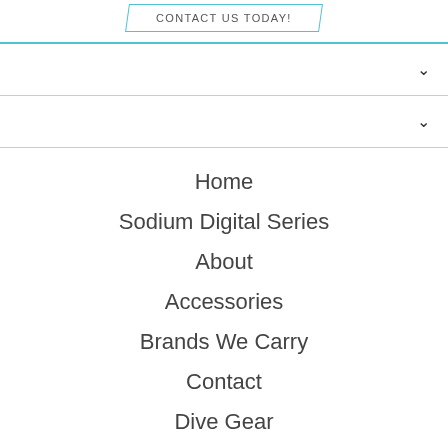CONTACT US TODAY!
Home
Sodium Digital Series
About
Accessories
Brands We Carry
Contact
Dive Gear
Drinkware